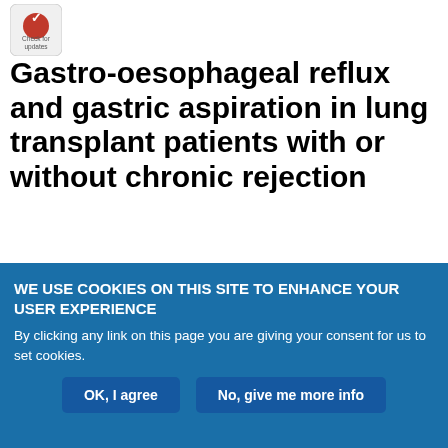[Figure (logo): CrossMark 'Check for updates' badge in top left corner]
Gastro-oesophageal reflux and gastric aspiration in lung transplant patients with or without chronic rejection
K. Blondeau, V. Mertens, B. A. Vanaudenaerde, G. M. Verleden, D. E. Van Raemdonck, D. Sifrim, L. J. Dupont
European Respiratory Journal 2008 31: 707-713; DOI: 10.1183/09031936.00064807
Article | Figures & Data
WE USE COOKIES ON THIS SITE TO ENHANCE YOUR USER EXPERIENCE
By clicking any link on this page you are giving your consent for us to set cookies.
OK, I agree | No, give me more info